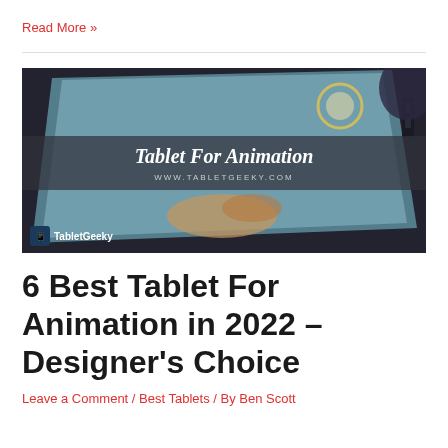Read More »
[Figure (photo): A person using a stylus on a drawing tablet showing animation software, with overlay text 'Tablet For Animation' and 'WWW.TABLETGEEKY.COM', and a watermark 'TabletGeeky' in the lower left corner.]
6 Best Tablet For Animation in 2022 – Designer's Choice
Leave a Comment / Best Tablets / By Ben Scott